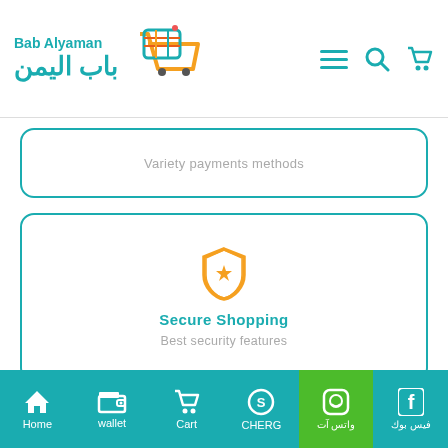Bab Alyaman / باب اليمن — navigation header with logo and icons
Variety payments methods
Secure Shopping
Best security features
Point System
Collect points with each purchase and get future discounts
Home | wallet | Cart | CHERG | واتس آت | فيس بوك